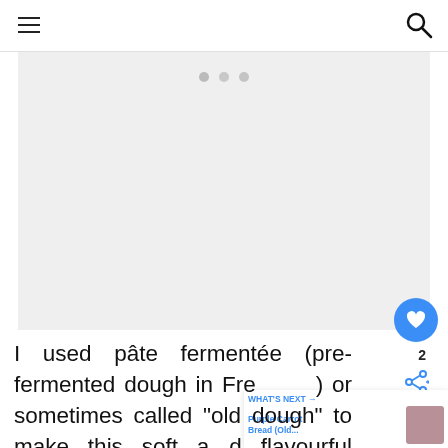[Figure (photo): Light gray placeholder image area with three slider navigation dots (three small gray circles) at the top center]
I used pâte fermentée (pre-fermented dough in French) or sometimes called "old dough" to make this soft and flavourful bread.   Traditionally, bread m… portion of the bread dough made and save it overnight